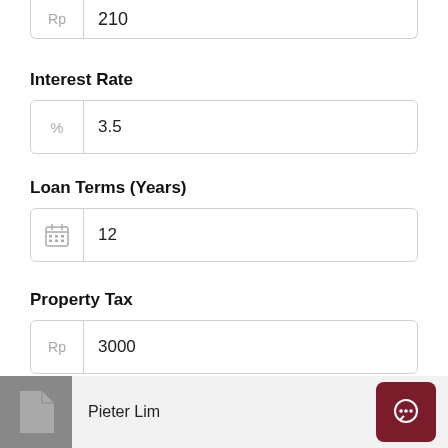Rp  210
Interest Rate
%  3.5
Loan Terms (Years)
12
Property Tax
Rp  3000
Home Insurance
Rp  1000
Pieter Lim